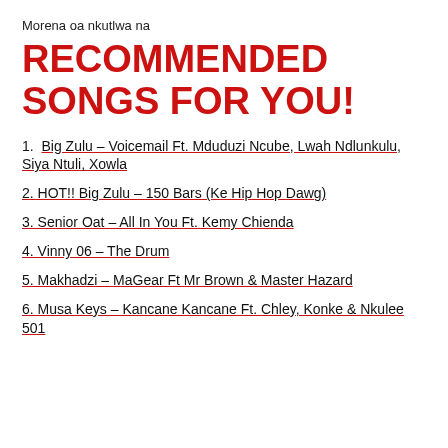Morena oa nkutlwa na
RECOMMENDED SONGS FOR YOU!
1.  Big Zulu – Voicemail Ft. Mduduzi Ncube, Lwah Ndlunkulu, Siya Ntuli, Xowla
2. HOT!! Big Zulu – 150 Bars (Ke Hip Hop Dawg)
3. Senior Oat – All In You Ft. Kemy Chienda
4. Vinny 06 – The Drum
5. Makhadzi – MaGear Ft Mr Brown & Master Hazard
6. Musa Keys – Kancane Kancane Ft. Chley, Konke & Nkulee 501